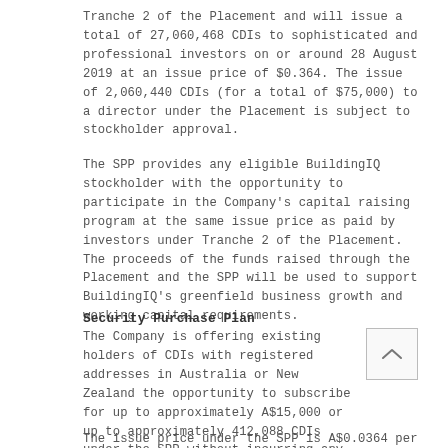Tranche 2 of the Placement and will issue a total of 27,060,468 CDIs to sophisticated and professional investors on or around 28 August 2019 at an issue price of $0.364. The issue of 2,060,440 CDIs (for a total of $75,000) to a director under the Placement is subject to stockholder approval.
The SPP provides any eligible BuildingIQ stockholder with the opportunity to participate in the Company's capital raising program at the same issue price as paid by investors under Tranche 2 of the Placement. The proceeds of the funds raised through the Placement and the SPP will be used to support BuildingIQ's greenfield business growth and working capital requirements.
Security Purchase Plan
The Company is offering existing holders of CDIs with registered addresses in Australia or New Zealand the opportunity to subscribe for up to approximately A$15,000 or up to approximately 412,088 CDIs under the SPP without incurring any transaction costs.
The issue price under the SPP is A$0.0364 per CDI, being